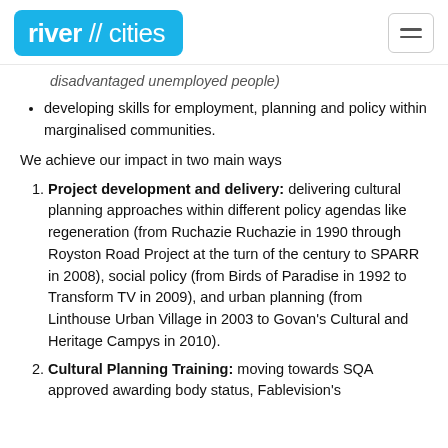river // cities
disadvantaged unemployed people)
developing skills for employment, planning and policy within marginalised communities.
We achieve our impact in two main ways
Project development and delivery: delivering cultural planning approaches within different policy agendas like regeneration (from Ruchazie Ruchazie in 1990 through Royston Road Project at the turn of the century to SPARR in 2008), social policy (from Birds of Paradise in 1992 to Transform TV in 2009), and urban planning (from Linthouse Urban Village in 2003 to Govan's Cultural and Heritage Campys in 2010).
Cultural Planning Training: moving towards SQA approved awarding body status, Fablevision's